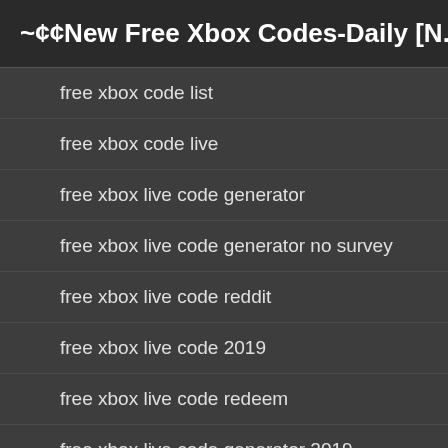~¢¢New Free Xbox Codes-Daily [N...
free xbox code list
free xbox code live
free xbox live code generator
free xbox live code generator no survey
free xbox live code reddit
free xbox live code 2019
free xbox live code redeem
free xbox live code generator 2019
free xbox minecraft code